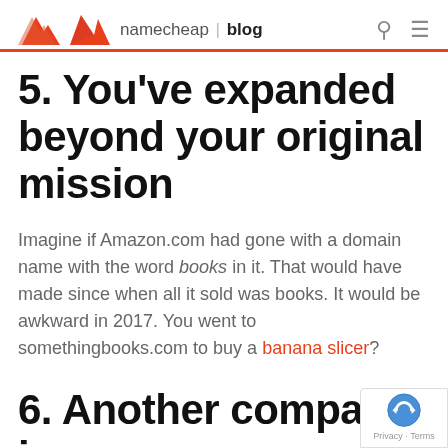namecheap | blog
5. You've expanded beyond your original mission
Imagine if Amazon.com had gone with a domain name with the word books in it. That would have made since when all it sold was books. It would be awkward in 2017. You went to somethingbooks.com to buy a banana slicer?
6. Another company is being confused with